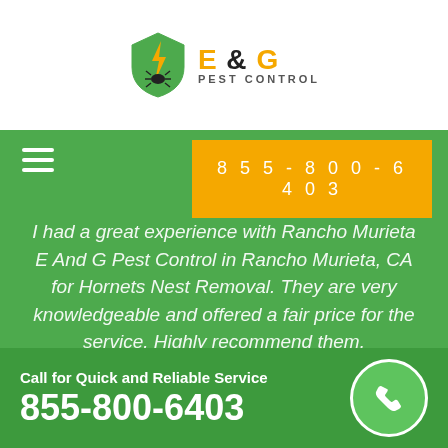[Figure (logo): E & G Pest Control logo with shield icon containing a bug and lightning bolt]
[Figure (infographic): Green hamburger menu icon (three horizontal white lines)]
855-800-6403
I had a great experience with Rancho Murieta E And G Pest Control in Rancho Murieta, CA for Hornets Nest Removal. They are very knowledgeable and offered a fair price for the service. Highly recommend them.
Call for Quick and Reliable Service
855-800-6403